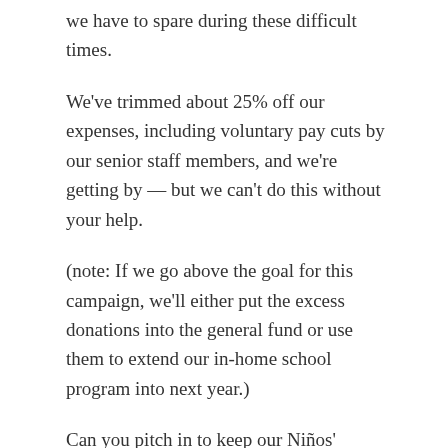we have to spare during these difficult times.
We've trimmed about 25% off our expenses, including voluntary pay cuts by our senior staff members, and we're getting by — but we can't do this without your help.
(note: If we go above the goal for this campaign, we'll either put the excess donations into the general fund or use them to extend our in-home school program into next year.)
Can you pitch in to keep our Niños' education moving forward during the shutdown?
2 Replies to “COVID Relief for the Niños”